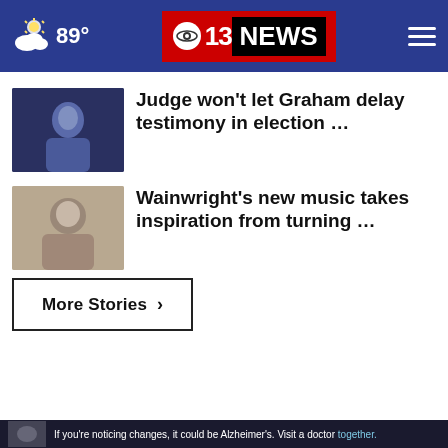89° | CBS 13 NEWS
Judge won't let Graham delay testimony in election …
Wainwright's new music takes inspiration from turning …
More Stories ›
[Figure (infographic): Adoption foster care advertisement: 'Thousands of teens in foster care can't wait to share their firsts with you']
If you're noticing changes, it could be Alzheimer's. Visit a doctor together.